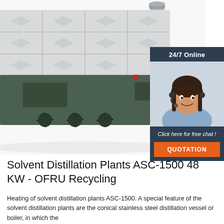[Figure (photo): Large industrial solvent distillation plant unit ASC-1500 — a rectangular machine with grey/teal metal panels, fan blades visible on the lower front, and cylindrical exhaust pipes on the upper right. White background.]
[Figure (illustration): 24/7 Online chat widget overlay in dark navy blue — showing text '24/7 Online', a photo of a smiling woman with a headset, italic text 'Click here for free chat!', and an orange button labeled 'QUOTATION'.]
Solvent Distillation Plants ASC-1500 48 KW - OFRU Recycling
Heating of solvent distillation plants ASC-1500. A special feature of the solvent distillation plants are the conical stainless steel distillation vessel or boiler, in which the